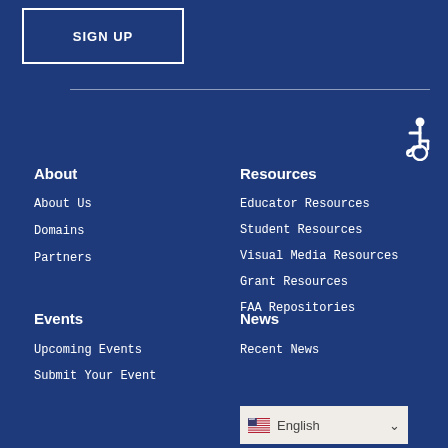SIGN UP
About
About Us
Domains
Partners
Resources
Educator Resources
Student Resources
Visual Media Resources
Grant Resources
FAA Repositories
Events
Upcoming Events
Submit Your Event
News
Recent News
English